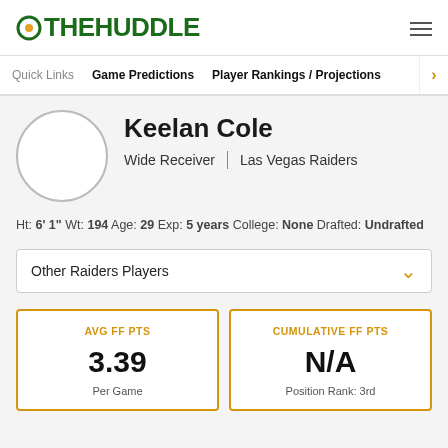THE HUDDLE
Quick Links   Game Predictions   Player Rankings / Projections
Keelan Cole
Wide Receiver | Las Vegas Raiders
Ht: 6' 1" Wt: 194 Age: 29 Exp: 5 years College: None Drafted: Undrafted
Other Raiders Players
| AVG FF PTS | CUMULATIVE FF PTS |
| --- | --- |
| 3.39 | N/A |
| Per Game | Position Rank: 3rd |